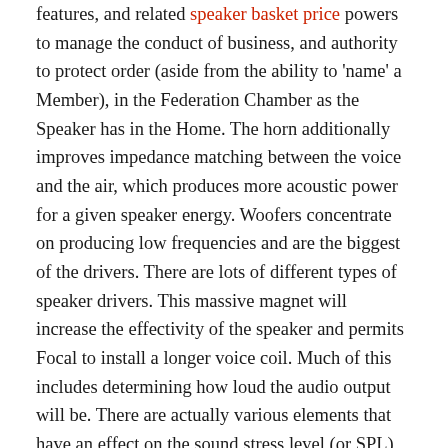features, and related speaker basket price powers to manage the conduct of business, and authority to protect order (aside from the ability to 'name' a Member), in the Federation Chamber as the Speaker has in the Home. The horn additionally improves impedance matching between the voice and the air, which produces more acoustic power for a given speaker energy. Woofers concentrate on producing low frequencies and are the biggest of the drivers. There are lots of different types of speaker drivers. This massive magnet will increase the effectivity of the speaker and permits Focal to install a longer voice coil. Much of this includes determining how loud the audio output will be. There are actually various elements that have an effect on the sound stress level (or SPL) in a particular space, together with speaker sensitivity, signal variability and extra. Built on our world renown Excel know-how, we've got developed a number of the most interesting high finish high quality loudspeakers available in as we